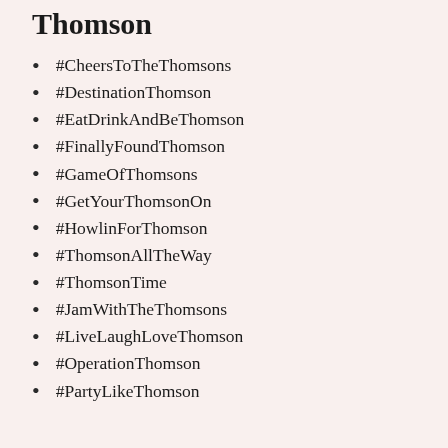Full Wedding Hashtags for Thomson
#CheersToTheThomsons
#DestinationThomson
#EatDrinkAndBeThomson
#FinallyFoundThomson
#GameOfThomsons
#GetYourThomsonOn
#HowlinForThomson
#ThomsonAllTheWay
#ThomsonTime
#JamWithTheThomsons
#LiveLaughLoveThomson
#OperationThomson
#PartyLikeThomson